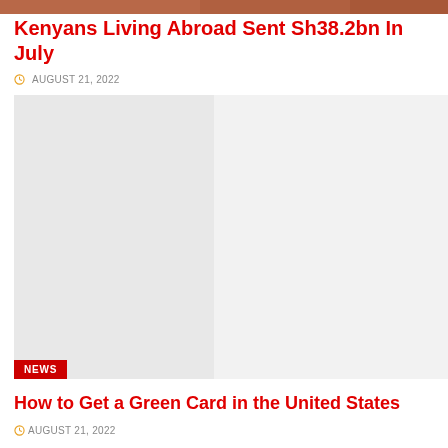[Figure (photo): Partial top image strip visible at the top of the page]
Kenyans Living Abroad Sent Sh38.2bn In July
AUGUST 21, 2022
[Figure (photo): Large light gray placeholder image with a NEWS badge in the bottom left corner]
How to Get a Green Card in the United States
AUGUST 21, 2022